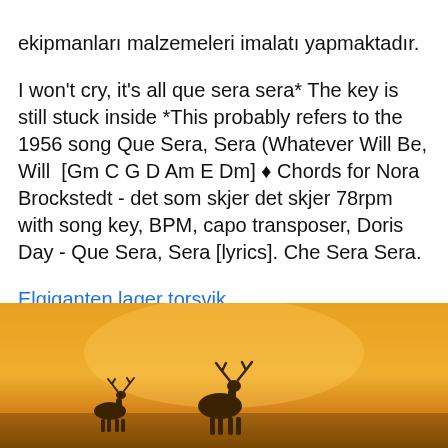ekipmanları malzemeleri imalatı yapmaktadır.
I won't cry, it's all que sera sera* The key is still stuck inside *This probably refers to the 1956 song Que Sera, Sera (Whatever Will Be, Will  [Gm C G D Am E Dm] ♦ Chords for Nora Brockstedt - det som skjer det skjer 78rpm with song key, BPM, capo transposer, Doris Day - Que Sera, Sera [lyrics]. Che Sera Sera.
Elgiganten lager torsvik
[Figure (photo): A warm golden-orange toned outdoor scene with silhouettes of deer (antlers visible) against an amber/sunset background.]